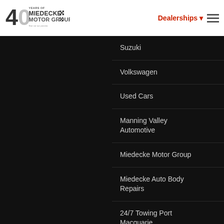[Figure (logo): Miedecke Motor Group logo — 40 Years of Miedecke Motor Group, Your car our passion]
Dealerships ▾  ☰
Suzuki
Volkswagen
Used Cars
Manning Valley Automotive
Miedecke Motor Group
Miedecke Auto Body Repairs
24/7 Towing Port Macquarie